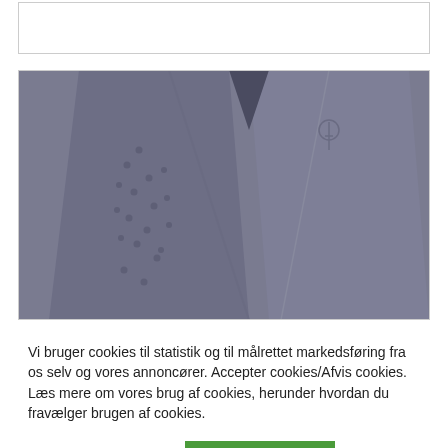[Figure (photo): Close-up photo of grey/dark blue riding breeches or leggings showing textured grip pattern on the inner leg and a small logo embossment on the outer leg.]
Vi bruger cookies til statistik og til målrettet markedsføring fra os selv og vores annoncører. Accepter cookies/Afvis cookies. Læs mere om vores brug af cookies, herunder hvordan du fravælger brugen af cookies.
Cookie indstillinger
ACCEPTER